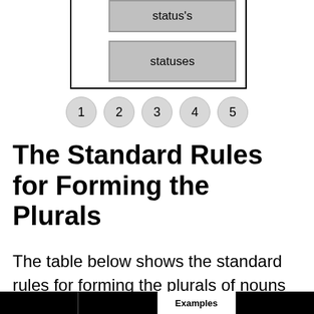[Figure (flowchart): Diagram showing two alternative plural forms in grey boxes: 'status's' and 'statuses', within a bordered container]
[Figure (other): Page navigation with 5 numbered circles: 1, 2, 3, 4, 5]
The Standard Rules for Forming the Plurals
The table below shows the standard rules for forming the plurals of nouns in English.
|  |  | Examples |  |
| --- | --- | --- | --- |